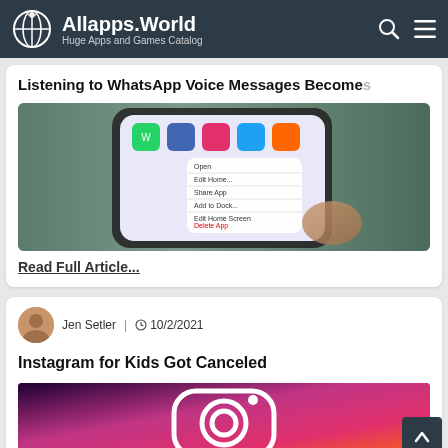Allapps.World — Huge Apps and Games Catalog
Listening to WhatsApp Voice Messages Becomes
[Figure (photo): A hand holding a smartphone displaying WhatsApp and other app icons with a context menu open]
Read Full Article...
Jen Setler | 10/2/2021
Instagram for Kids Got Canceled
[Figure (photo): Instagram logo on a pink and purple gradient background]